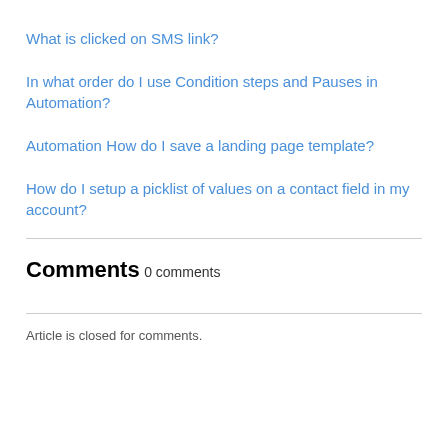What is clicked on SMS link?
In what order do I use Condition steps and Pauses in Automation?
Automation
How do I save a landing page template?
How do I setup a picklist of values on a contact field in my account?
Comments
0 comments
Article is closed for comments.